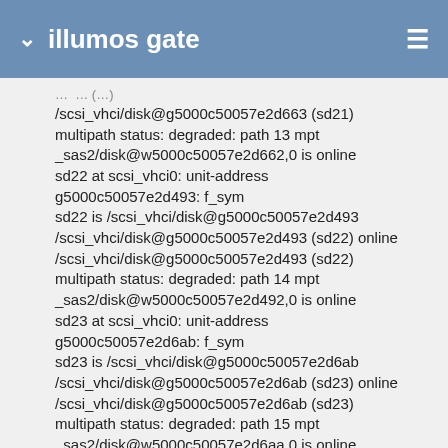illumos gate
/scsi_vhci/disk@g5000c50057e2d663 (sd21)
multipath status: degraded: path 13 mpt _sas2/disk@w5000c50057e2d662,0 is online
sd22 at scsi_vhci0: unit-address g5000c50057e2d493: f_sym
sd22 is /scsi_vhci/disk@g5000c50057e2d493
/scsi_vhci/disk@g5000c50057e2d493 (sd22) online
/scsi_vhci/disk@g5000c50057e2d493 (sd22)
multipath status: degraded: path 14 mpt _sas2/disk@w5000c50057e2d492,0 is online
sd23 at scsi_vhci0: unit-address g5000c50057e2d6ab: f_sym
sd23 is /scsi_vhci/disk@g5000c50057e2d6ab
/scsi_vhci/disk@g5000c50057e2d6ab (sd23) online
/scsi_vhci/disk@g5000c50057e2d6ab (sd23)
multipath status: degraded: path 15 mpt _sas2/disk@w5000c50057e2d6aa,0 is online
sd24 at scsi_vhci0: unit-address